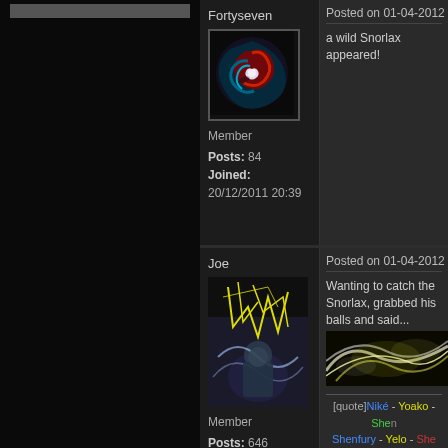Fortyseven
[Figure (illustration): Dark swirling avatar with red and teal colors, bird/dragon motif]
Member
Posts: 84
Joined: 20/12/2011 20:39
Posted on 01-04-2012 11:37
a wild Snorlax appeared!
Joe
[Figure (illustration): Yellow sketch drawing over dark fantasy character artwork]
Member
Posts: 646
Joined: 24/11/2006 21:29
Posted on 01-04-2012 16:44
Wanting to catch the Snorlax, grabbed his balls and said...
[Figure (illustration): Smoky white and yellow swirling image]
[quote]Niké - Yoako - Shenfury - Yelo - Shendaynor - Shendaga - Manabattery - Naor[/quote]